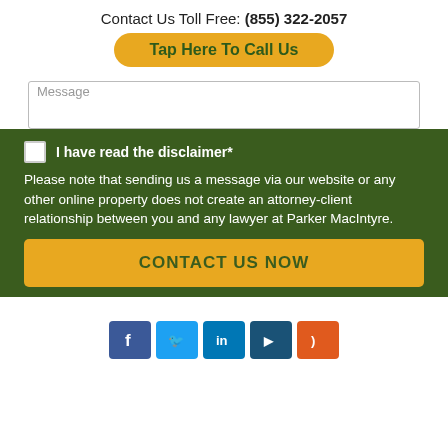Contact Us Toll Free: (855) 322-2057
Tap Here To Call Us
[Figure (screenshot): Message text input field (partially visible, placeholder text 'Message')]
I have read the disclaimer*
Please note that sending us a message via our website or any other online property does not create an attorney-client relationship between you and any lawyer at Parker MacIntyre.
CONTACT US NOW
[Figure (other): Social media icon bar showing Facebook, Twitter, LinkedIn, YouTube/dark blue, and RSS/orange icons]